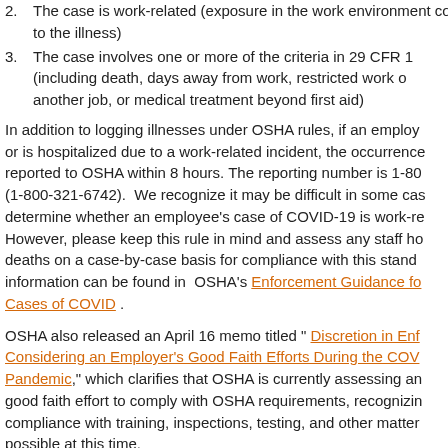2. The case is work-related (exposure in the work environment contributed to the illness)
3. The case involves one or more of the criteria in 29 CFR 1904.7 (including death, days away from work, restricted work or transfer to another job, or medical treatment beyond first aid)
In addition to logging illnesses under OSHA rules, if an employee dies or is hospitalized due to a work-related incident, the occurrence must be reported to OSHA within 8 hours. The reporting number is 1-800-321-OSHA (1-800-321-6742). We recognize it may be difficult in some cases to determine whether an employee's case of COVID-19 is work-related. However, please keep this rule in mind and assess any staff hospitalizations or deaths on a case-by-case basis for compliance with this standard. Additional information can be found in OSHA's Enforcement Guidance for Recording Cases of COVID.
OSHA also released an April 16 memo titled "Discretion in Enforcement When Considering an Employer's Good Faith Efforts During the COVID-19 Pandemic," which clarifies that OSHA is currently assessing an employer's good faith effort to comply with OSHA requirements, recognizing that compliance with training, inspections, testing, and other matters may not be possible at this time.
DOH Guidance on COVID-19 Testing Protocols
On April 26, DOH updated its guidance on priority testing for COVID to include individuals employed as heath care workers, first responders, or in a position in "other congregate care settings," including direct care staff. OPWDD has confirmed that our staff is covered under this expansion. We hope this will expedite testing and results for our staff.